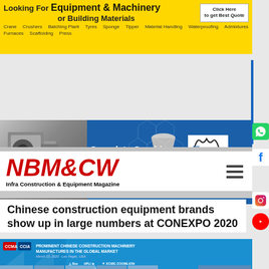[Figure (infographic): Yellow advertisement banner: 'Looking For Equipment & Machinery or Building Materials' with items listed: Crane, Crushers, Batching Plant, Tyres, Sponge, Tipper, Material Handling, Waterproofing, Admixtures, Furnaces, Scaffolding, Press, and a 'Click Here to get Best Quote' button]
[Figure (infographic): Blue advertisement banner for Puzzolana: 'Complete Crushing and Screening Solutions' with crusher machine images and Puzzolana logo]
[Figure (logo): NBM&CW - Infra Construction & Equipment Magazine logo in red italic bold text with hamburger menu icon]
Chinese construction equipment brands show up in large numbers at CONEXPO 2020
[Figure (photo): Photo showing 'Prominent Chinese Construction Machinery Manufactures in the Global Market' event at CONEXPO, March 10, 2020, Las Vegas, USA, with brand logos including XCMG, ZOOMLION, SANY and others, with a row of people at the bottom]